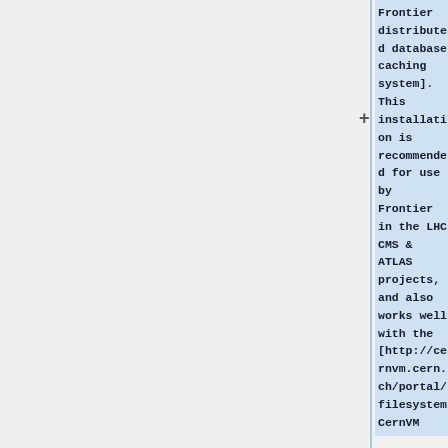Frontier distributed database caching system]. This installation is recommended for use by Frontier in the LHC CMS & ATLAS projects, and also works well with the [http://cernvm.cern.ch/portal/filesystem CernVM